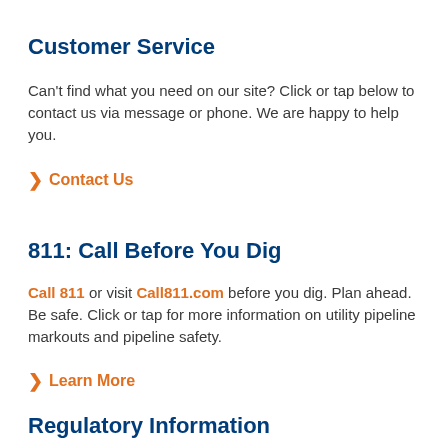Customer Service
Can't find what you need on our site? Click or tap below to contact us via message or phone. We are happy to help you.
Contact Us
811: Call Before You Dig
Call 811 or visit Call811.com before you dig. Plan ahead. Be safe. Click or tap for more information on utility pipeline markouts and pipeline safety.
Learn More
Regulatory Information